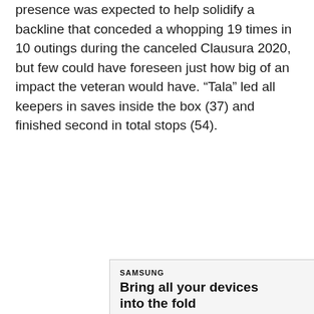presence was expected to help solidify a backline that conceded a whopping 19 times in 10 outings during the canceled Clausura 2020, but few could have foreseen just how big of an impact the veteran would have. “Tala” led all keepers in saves inside the box (37) and finished second in total stops (54).
[Figure (other): Samsung advertisement for Galaxy Z Fold4 featuring tagline 'Bring all your devices into the fold', a Learn More button, and product images of the foldable phone, a smartwatch, and earbuds.]
...